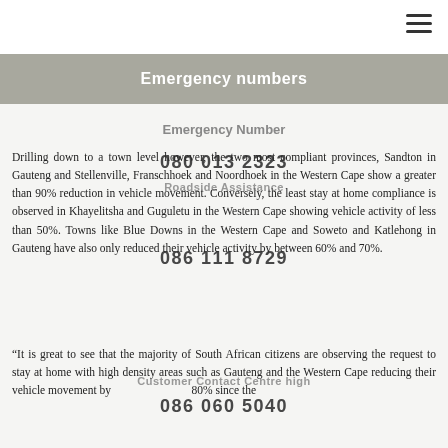Emergency numbers
Emergency Number
Drilling down to a town level however, the two most compliant provinces, Sandton in Gauteng and Stellenville, Franschhoek and Noordhoek in the Western Cape show a greater than 90% reduction in vehicle movement. Conversely, the least stay at home compliance is observed in Khayelitsha and Guguletu in the Western Cape showing vehicle activity of less than 50%. Towns like Blue Downs in the Western Cape and Soweto and Katlehong in Gauteng have also only reduced their vehicle activity by between 60% and 70%.
“It is great to see that the majority of South African citizens are observing the request to stay at home with high density areas such as Gauteng and the Western Cape reducing their vehicle movement by 80% since the